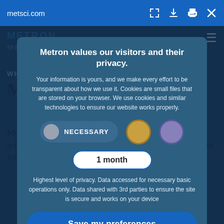metsci.com
[Figure (screenshot): Background webpage showing Metron website with logo, 'WHO WE ARE' section label, 'Metron Leadership' heading, and body text about Metron's leadership team. Dark teal/navy background.]
Metron values our visitors and their privacy.
Your information is yours, and we make every effort to be transparent about how we use it. Cookies are small files that are stored on your browser. We use cookies and similar technologies to ensure our website works properly.
NECESSARY
1 month
Highest level of privacy. Data accessed for necessary basic operations only. Data shared with 3rd parties to ensure the site is secure and works on your device
Save my preferences